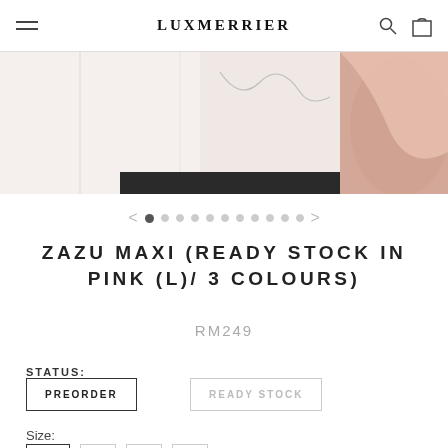LUXMERRIER
[Figure (photo): Product photo showing a pink/light garment partially visible at the top of the page]
< • ○ ○ ○ ○ ○ ○ ○ ○ ○ ○ >
ZAZU MAXI (READY STOCK IN PINK (L)/ 3 COLOURS)
RM249
STATUS:
PREORDER
READY STOCK
Size: